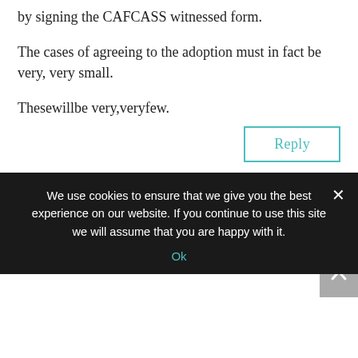by signing the CAFCASS witnessed form.
The cases of agreeing to the adoption must in fact be very, very small.
Thesewillbe very,veryfew.
Reply
Lucy R on 3 September 2015 at 6:26 pm
Yes, but what is the name of the policy and where can I find it?
As to the rest of your comment I think
We use cookies to ensure that we give you the best experience on our website. If you continue to use this site we will assume that you are happy with it.
Ok